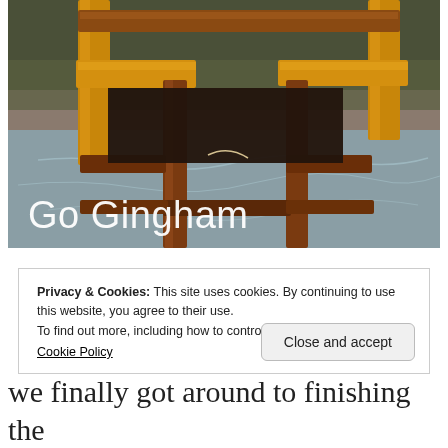[Figure (photo): Photo of a wooden chair frame (mission/craftsman style) with oak slats, sitting on a plastic sheet outdoors. White overlay text reads 'Go Gingham' in light weight sans-serif font.]
Privacy & Cookies: This site uses cookies. By continuing to use this website, you agree to their use.
To find out more, including how to control cookies, see here:
Cookie Policy
we finally got around to finishing the